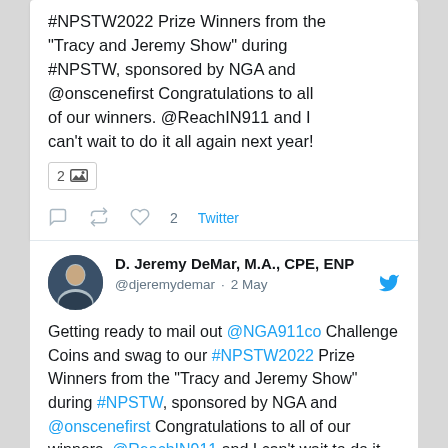#NPSTW2022 Prize Winners from the "Tracy and Jeremy Show" during #NPSTW, sponsored by NGA and @onscenefirst Congratulations to all of our winners. @ReachIN911 and I can't wait to do it all again next year!
2 [image] Twitter actions
D. Jeremy DeMar, M.A., CPE, ENP @djeremydemar · 2 May
Getting ready to mail out @NGA911co Challenge Coins and swag to our #NPSTW2022 Prize Winners from the "Tracy and Jeremy Show" during #NPSTW, sponsored by NGA and @onscenefirst Congratulations to all of our winners. @ReachIN911 and I can't wait to do it all